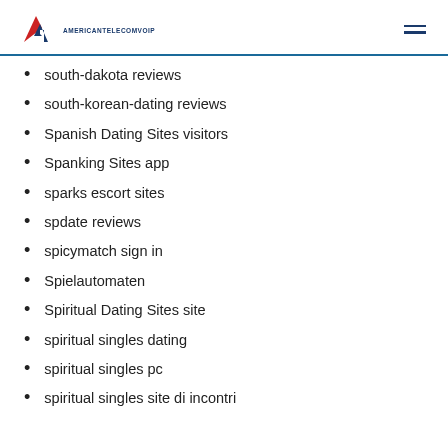AMERICANTELECOMVOIP
south-dakota reviews
south-korean-dating reviews
Spanish Dating Sites visitors
Spanking Sites app
sparks escort sites
spdate reviews
spicymatch sign in
Spielautomaten
Spiritual Dating Sites site
spiritual singles dating
spiritual singles pc
spiritual singles site di incontri